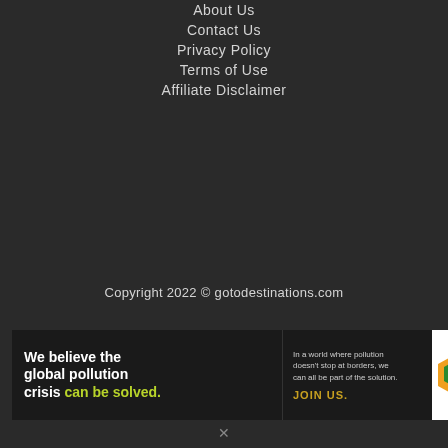About Us
Contact Us
Privacy Policy
Terms of Use
Affiliate Disclaimer
Copyright 2022 © gotodestinations.com
[Figure (infographic): Pure Earth advertisement banner: 'We believe the global pollution crisis can be solved.' with tagline 'In a world where pollution doesn't stop at borders, we can all be part of the solution. JOIN US.' with Pure Earth logo on the right.]